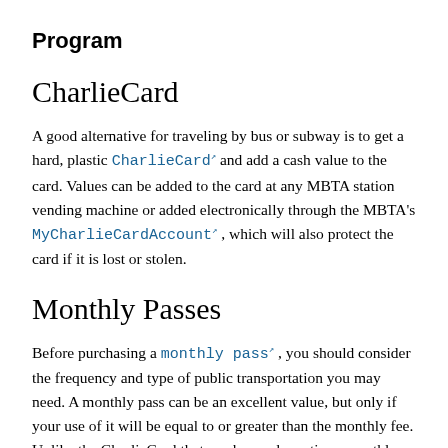Program
CharlieCard
A good alternative for traveling by bus or subway is to get a hard, plastic CharlieCard and add a cash value to the card. Values can be added to the card at any MBTA station vending machine or added electronically through the MBTA's MyCharlieCardAccount , which will also protect the card if it is lost or stolen.
Monthly Passes
Before purchasing a monthly pass , you should consider the frequency and type of public transportation you may need. A monthly pass can be an excellent value, but only if your use of it will be equal to or greater than the monthly fee. Unlike the CharlieCard that can be used any time, monthly passes